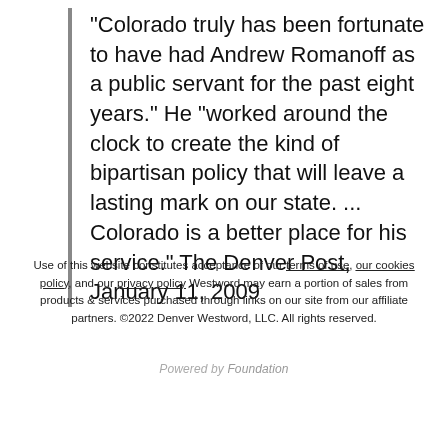"Colorado truly has been fortunate to have had Andrew Romanoff as a public servant for the past eight years." He "worked around the clock to create the kind of bipartisan policy that will leave a lasting mark on our state. ... Colorado is a better place for his service." The Denver Post, January 11, 2009
Use of this website constitutes acceptance of our terms of use, our cookies policy, and our privacy policy Westword may earn a portion of sales from products & services purchased through links on our site from our affiliate partners. ©2022 Denver Westword, LLC. All rights reserved.
Powered by Foundation